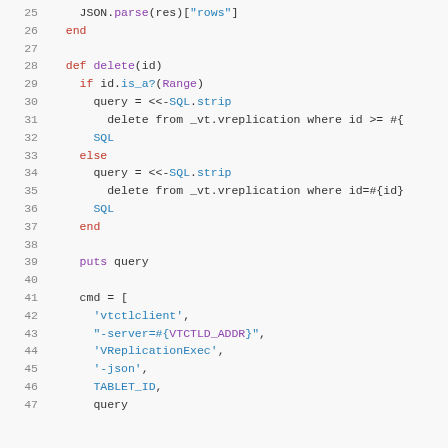[Figure (screenshot): Code snippet in Ruby showing lines 25-47 of a file. Syntax-highlighted source code with line numbers on the left. Shows methods for delete functionality using SQL heredoc strings and vtctlclient command construction.]